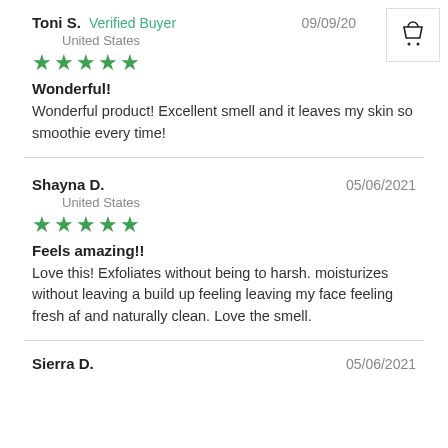Toni S. Verified Buyer — 09/09/20 — United States
[Figure (other): 5-star rating (green stars)]
Wonderful!
Wonderful product! Excellent smell and it leaves my skin so smoothie every time!
Shayna D. — 05/06/2021 — United States
[Figure (other): 5-star rating (green stars)]
Feels amazing!!
Love this! Exfoliates without being to harsh. moisturizes without leaving a build up feeling leaving my face feeling fresh af and naturally clean. Love the smell.
Sierra D. — 05/06/2021